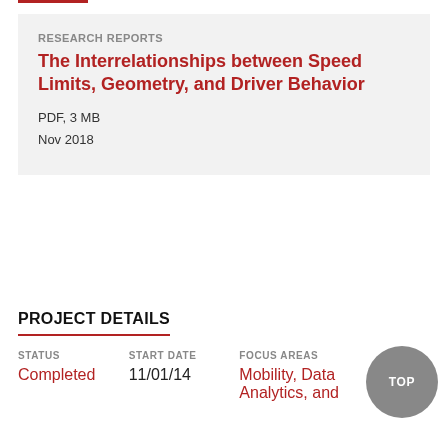RESEARCH REPORTS
The Interrelationships between Speed Limits, Geometry, and Driver Behavior
PDF, 3 MB
Nov 2018
PROJECT DETAILS
STATUS
Completed
START DATE
11/01/14
FOCUS AREAS
Mobility, Data Analytics, and